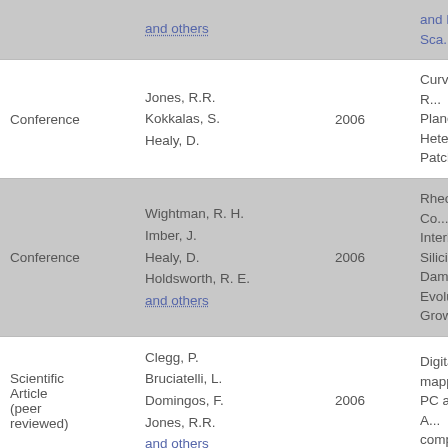| Type | Authors | Year | Title |
| --- | --- | --- | --- |
|  | and others |  | and Laser-Sca... |
| Conference | Jones, R.R.
Kokkalas, S.
Healy, D. | 2006 | Curvature of R... Planes and Heterogeneity... Patches |
| Conference | Wightman, R. H.
Imber, J.
Healy, D.
Holdsworth, R. E.
and others | 2006 | Rheological Co... Interbedded Siliciclastic Str... Damage Zone... Evolution Dur... Growth |
| Scientific Article (peer reviewed) | Clegg, P.
Bruciatelli, L.
Domingos, F.
Jones, R.R.
and others | 2006 | Digital geolog... mapping with PC and PDA: A... comparison |
|  |  |  |  |